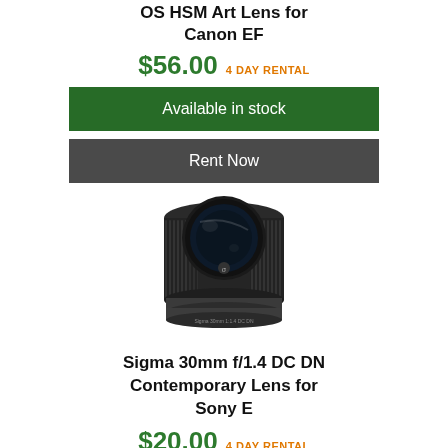OS HSM Art Lens for Canon EF
$56.00  4 DAY RENTAL
Available in stock
Rent Now
[Figure (photo): Sigma 30mm f/1.4 DC DN Contemporary Lens for Sony E — black barrel camera lens viewed from front-top angle]
Sigma 30mm f/1.4 DC DN Contemporary Lens for Sony E
$20.00  4 DAY RENTAL
Available in stock
Rent Now